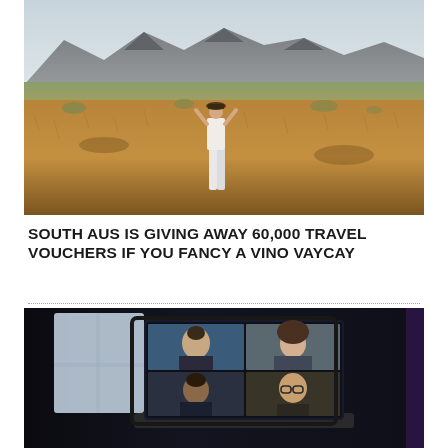[Figure (photo): Landscape photo of a woman standing in open grasslands with mountains in the background, South Australia scenery]
SOUTH AUS IS GIVING AWAY 60,000 TRAVEL VOUCHERS IF YOU FANCY A VINO VAYCAY
[Figure (photo): Photo of a laptop screen showing a video call with four participants in a grid layout]